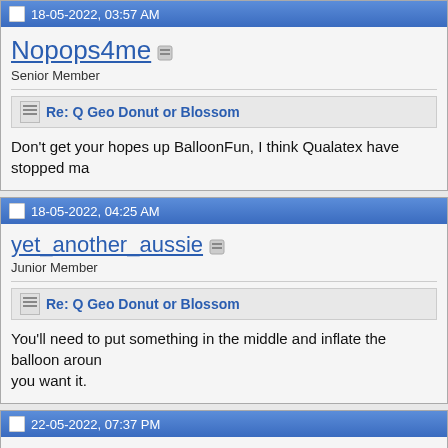18-05-2022, 03:57 AM
Nopops4me
Senior Member
Re: Q Geo Donut or Blossom
Don't get your hopes up BalloonFun, I think Qualatex have stopped ma
18-05-2022, 04:25 AM
yet_another_aussie
Junior Member
Re: Q Geo Donut or Blossom
You'll need to put something in the middle and inflate the balloon aroun you want it.
22-05-2022, 07:37 PM
Londonj2014
Senior Member
Re: Q Geo Donut or Blossom
stopped making both types??????